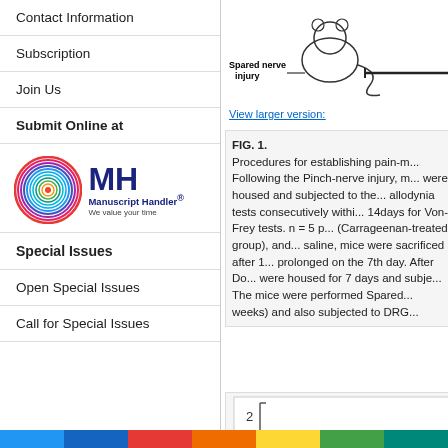Contact Information
Subscription
Join Us
Submit Online at
[Figure (logo): Manuscript Handler logo with colorful concentric circles and MH initials]
Special Issues
Open Special Issues
Call for Special Issues
[Figure (illustration): Diagram showing spared nerve injury model with mouse silhouette and labeled nerve injury lines]
View larger version:
FIG. 1. Procedures for establishing pain-r... Following the Pinch-nerve injury, mice were housed and subjected to the... allodynia tests consecutively within... 14days for Von-Frey tests. n = 5 p... (Carrageenan-treated group), and... saline, mice were sacrificed after 1... prolonged on the 7th day. After Do... were housed for 7 days and subje... The mice were performed Spared... weeks) and also subjected to DRG...
[Figure (other): Partial figure showing number 2 with bracket, beginning of another figure]